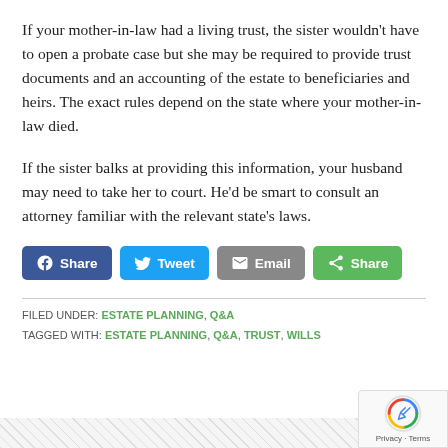If your mother-in-law had a living trust, the sister wouldn't have to open a probate case but she may be required to provide trust documents and an accounting of the estate to beneficiaries and heirs. The exact rules depend on the state where your mother-in-law died.
If the sister balks at providing this information, your husband may need to take her to court. He'd be smart to consult an attorney familiar with the relevant state's laws.
[Figure (other): Social share buttons: Facebook Share, Tweet, Email, Share]
FILED UNDER: ESTATE PLANNING, Q&A
TAGGED WITH: ESTATE PLANNING, Q&A, TRUST, WILLS